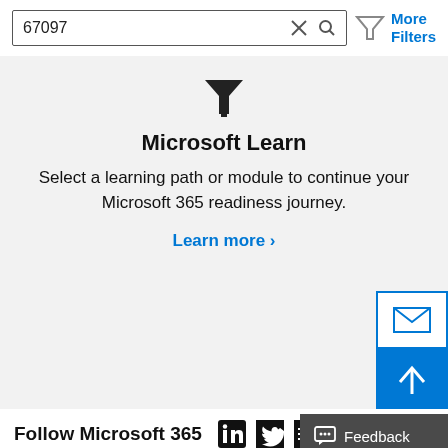[Figure (screenshot): Search bar with text '67097', X close icon, magnifying glass search icon, and a funnel filter icon with 'More Filters' link in blue]
[Figure (illustration): Dark funnel/filter icon centered above the Microsoft Learn heading]
Microsoft Learn
Select a learning path or module to continue your Microsoft 365 readiness journey.
Learn more >
[Figure (illustration): Email envelope icon in a white box with blue border (mail button, right side)]
[Figure (illustration): Upward arrow icon on blue background (scroll-to-top button, right side)]
Follow Microsoft 365
[Figure (illustration): LinkedIn, Twitter, and another social media icon]
[Figure (illustration): Feedback button with chat bubble icon and 'Feedback' label on dark grey background]